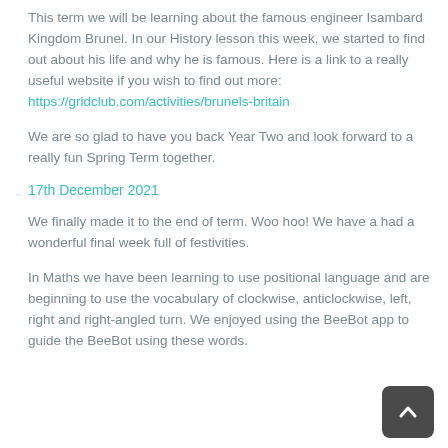This term we will be learning about the famous engineer Isambard Kingdom Brunel. In our History lesson this week, we started to find out about his life and why he is famous. Here is a link to a really useful website if you wish to find out more: https://gridclub.com/activities/brunels-britain
We are so glad to have you back Year Two and look forward to a really fun Spring Term together.
17th December 2021
We finally made it to the end of term. Woo hoo! We have a had a wonderful final week full of festivities.
In Maths we have been learning to use positional language and are beginning to use the vocabulary of clockwise, anticlockwise, left, right and right-angled turn. We enjoyed using the BeeBot app to guide the BeeBot using these words.